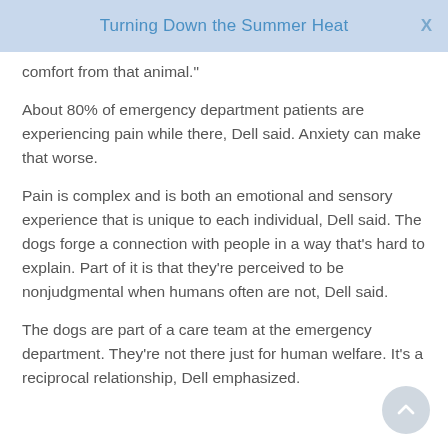Turning Down the Summer Heat
comfort from that animal."
About 80% of emergency department patients are experiencing pain while there, Dell said. Anxiety can make that worse.
Pain is complex and is both an emotional and sensory experience that is unique to each individual, Dell said. The dogs forge a connection with people in a way that's hard to explain. Part of it is that they're perceived to be nonjudgmental when humans often are not, Dell said.
The dogs are part of a care team at the emergency department. They're not there just for human welfare. It's a reciprocal relationship, Dell emphasized.